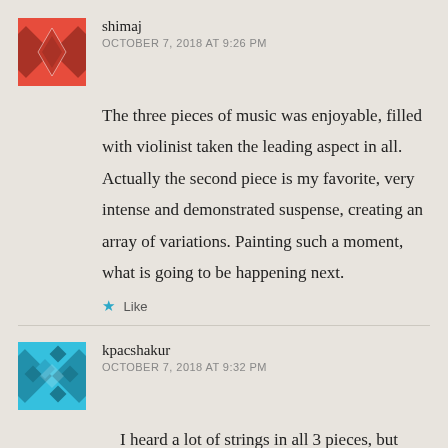[Figure (illustration): Avatar icon for user shimaj — red/maroon geometric quilt-pattern square avatar]
shimaj
OCTOBER 7, 2018 AT 9:26 PM
The three pieces of music was enjoyable, filled with violinist taken the leading aspect in all. Actually the second piece is my favorite, very intense and demonstrated suspense, creating an array of variations. Painting such a moment, what is going to be happening next.
Like
[Figure (illustration): Avatar icon for user kpacshakur — teal/cyan geometric quilt-pattern square avatar]
kpacshakur
OCTOBER 7, 2018 AT 9:32 PM
I heard a lot of strings in all 3 pieces, but as we learned in our soundscape journal we hear what we